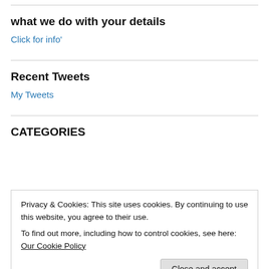what we do with your details
Click for info'
Recent Tweets
My Tweets
CATEGORIES
Privacy & Cookies: This site uses cookies. By continuing to use this website, you agree to their use.
To find out more, including how to control cookies, see here: Our Cookie Policy
Close and accept
Useful links